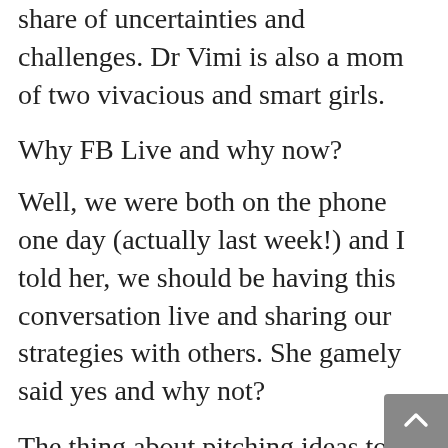share of uncertainties and challenges. Dr Vimi is also a mom of two vivacious and smart girls.
Why FB Live and why now?
Well, we were both on the phone one day (actually last week!) and I told her, we should be having this conversation live and sharing our strategies with others. She gamely said yes and why not?
The thing about pitching ideas to friends is that you know they'll be excited and yes, we truly have some opinions to share about reinventing ourselves. She has reinvented herself countless times; so have I. As entrepreneurs, we have to keep reinventing ourselves. We don't have the leisure of a pay check and we always need to be